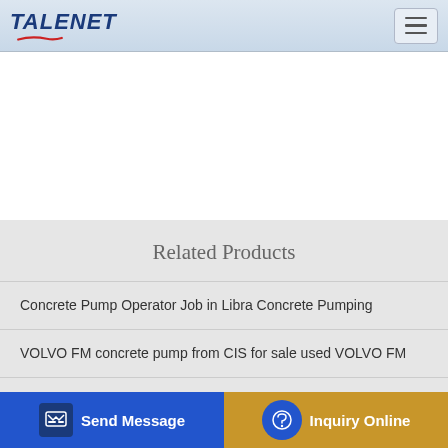TALENET
Related Products
Concrete Pump Operator Job in Libra Concrete Pumping
VOLVO FM concrete pump from CIS for sale used VOLVO FM
New and used concrete pump trucks from China for sale buy Jbt30 Trailer Concrete Pump with Mixer All in One Equipment